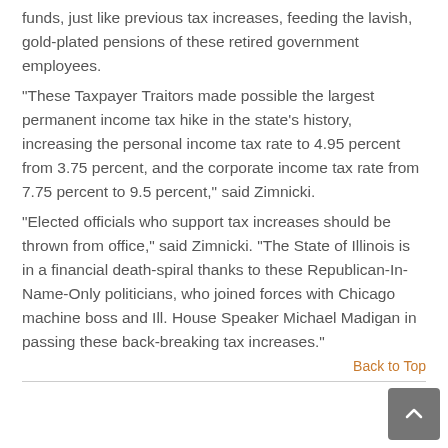funds, just like previous tax increases, feeding the lavish, gold-plated pensions of these retired government employees.
"These Taxpayer Traitors made possible the largest permanent income tax hike in the state's history, increasing the personal income tax rate to 4.95 percent from 3.75 percent, and the corporate income tax rate from 7.75 percent to 9.5 percent," said Zimnicki.
"Elected officials who support tax increases should be thrown from office," said Zimnicki. "The State of Illinois is in a financial death-spiral thanks to these Republican-In-Name-Only politicians, who joined forces with Chicago machine boss and Ill. House Speaker Michael Madigan in passing these back-breaking tax increases."
Back to Top